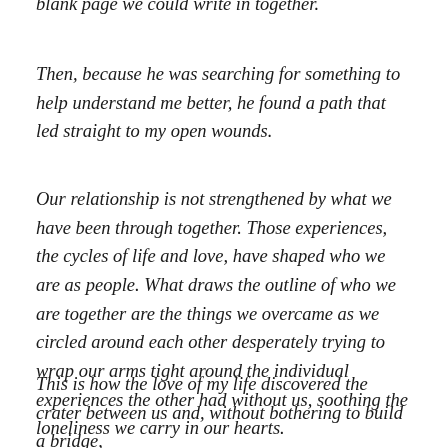blank page we could write in together.
Then, because he was searching for something to help understand me better, he found a path that led straight to my open wounds.
Our relationship is not strengthened by what we have been through together. Those experiences, the cycles of life and love, have shaped who we are as people. What draws the outline of who we are together are the things we overcame as we circled around each other desperately trying to wrap our arms tight around the individual experiences the other had without us, soothing the loneliness we carry in our hearts.
This is how the love of my life discovered the crater between us and, without bothering to build a bridge,